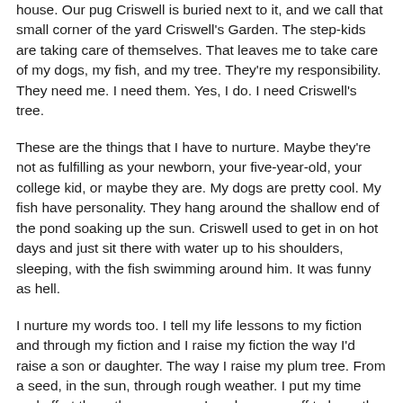house. Our pug Criswell is buried next to it, and we call that small corner of the yard Criswell's Garden. The step-kids are taking care of themselves. That leaves me to take care of my dogs, my fish, and my tree. They're my responsibility. They need me. I need them. Yes, I do. I need Criswell's tree.
These are the things that I have to nurture. Maybe they're not as fulfilling as your newborn, your five-year-old, your college kid, or maybe they are. My dogs are pretty cool. My fish have personality. They hang around the shallow end of the pond soaking up the sun. Criswell used to get in on hot days and just sit there with water up to his shoulders, sleeping, with the fish swimming around him. It was funny as hell.
I nurture my words too. I tell my life lessons to my fiction and through my fiction and I raise my fiction the way I'd raise a son or daughter. The way I raise my plum tree. From a seed, in the sun, through rough weather. I put my time and effort there the same way I work my ass off to keep the fish alive. It's a struggle, sometimes, especially in the dead of winter. I've got to climb down into the freezing water, haul up the